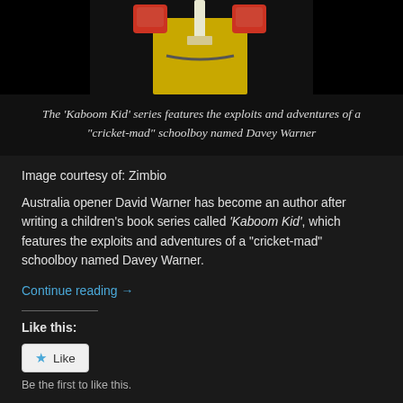[Figure (photo): Partial photo of cricket player in yellow uniform holding a cricket bat, against dark background. Only lower torso and hands visible at top of frame.]
The 'Kaboom Kid' series features the exploits and adventures of a "cricket-mad" schoolboy named Davey Warner
Image courtesy of: Zimbio
Australia opener David Warner has become an author after writing a children's book series called 'Kaboom Kid', which features the exploits and adventures of a "cricket-mad" schoolboy named Davey Warner.
Continue reading →
Like this:
★ Like
Be the first to like this.